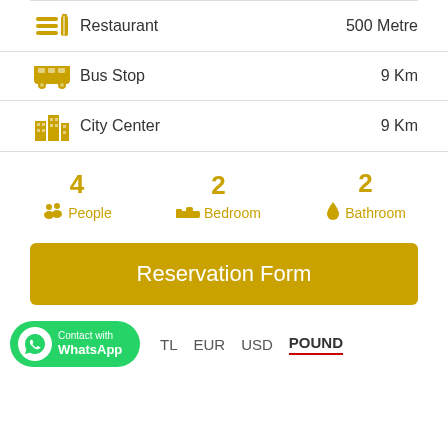Restaurant   500 Metre
Bus Stop   9 Km
City Center   9 Km
4 People   2 Bedroom   2 Bathroom
Reservation Form
Contact with WhatsApp   TL   EUR   USD   POUND